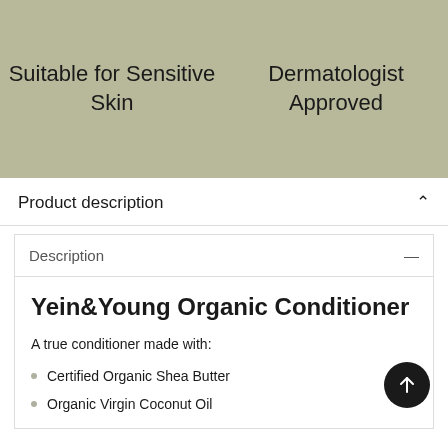Suitable for Sensitive Skin
Dermatologist Approved
Product description
Description
Yein&Young Organic Conditioner
A true conditioner made with:
Certified Organic Shea Butter
Organic Virgin Coconut Oil